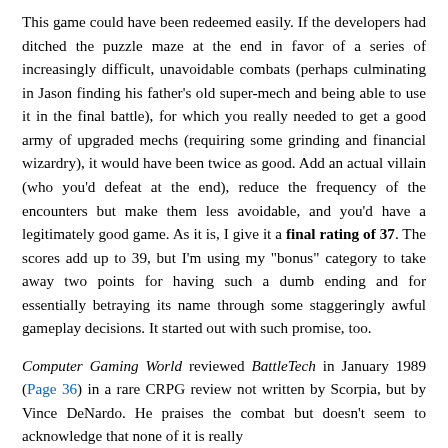This game could have been redeemed easily. If the developers had ditched the puzzle maze at the end in favor of a series of increasingly difficult, unavoidable combats (perhaps culminating in Jason finding his father's old super-mech and being able to use it in the final battle), for which you really needed to get a good army of upgraded mechs (requiring some grinding and financial wizardry), it would have been twice as good. Add an actual villain (who you'd defeat at the end), reduce the frequency of the encounters but make them less avoidable, and you'd have a legitimately good game. As it is, I give it a final rating of 37. The scores add up to 39, but I'm using my "bonus" category to take away two points for having such a dumb ending and for essentially betraying its name through some staggeringly awful gameplay decisions. It started out with such promise, too.
Computer Gaming World reviewed BattleTech in January 1989 (Page 36) in a rare CRPG review not written by Scorpia, but by Vince DeNardo. He praises the combat but doesn't seem to acknowledge that none of it is really...